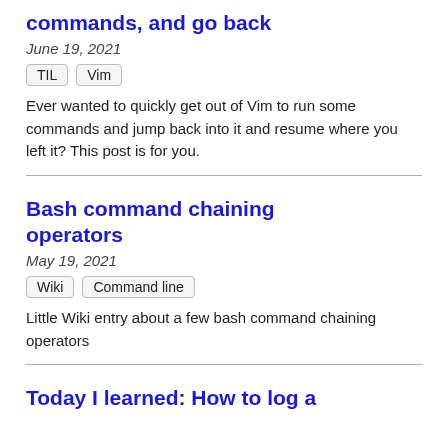commands, and go back
June 19, 2021
TIL
Vim
Ever wanted to quickly get out of Vim to run some commands and jump back into it and resume where you left it? This post is for you.
Bash command chaining operators
May 19, 2021
Wiki
Command line
Little Wiki entry about a few bash command chaining operators
Today I learned: How to log a